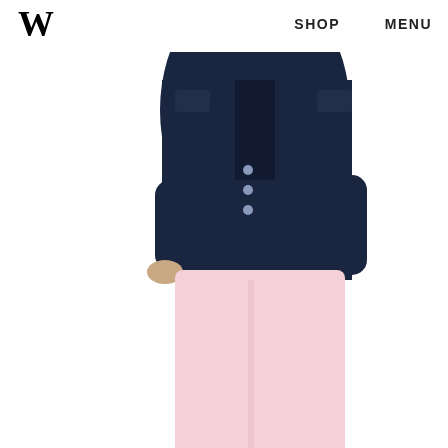W  SHOP  MENU
[Figure (photo): Person wearing dark denim jacket and pale pink trousers with white sneakers, posing on white background, J.Crew fashion photo]
Photo courtesy of J.Crew.
[Figure (photo): Partial view of a blonde person with hands in hair, cropped at top of page section, white background]